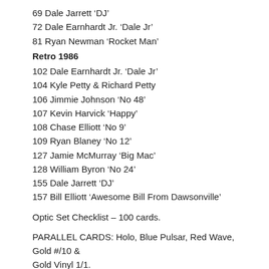69 Dale Jarrett 'DJ'
72 Dale Earnhardt Jr. 'Dale Jr'
81 Ryan Newman 'Rocket Man'
Retro 1986
102 Dale Earnhardt Jr. 'Dale Jr'
104 Kyle Petty & Richard Petty
106 Jimmie Johnson 'No 48'
107 Kevin Harvick 'Happy'
108 Chase Elliott 'No 9'
109 Ryan Blaney 'No 12'
127 Jamie McMurray 'Big Mac'
128 William Byron 'No 24'
155 Dale Jarrett 'DJ'
157 Bill Elliott 'Awesome Bill From Dawsonville'
Optic Set Checklist – 100 cards.
PARALLEL CARDS: Holo, Blue Pulsar, Red Wave, Gold #/10 & Gold Vinyl 1/1.
Race Kings